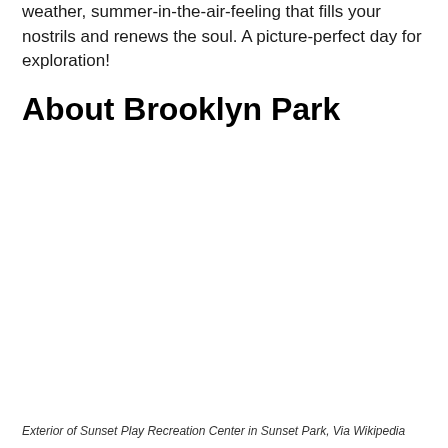weather, summer-in-the-air-feeling that fills your nostrils and renews the soul. A picture-perfect day for exploration!
About Brooklyn Park
[Figure (photo): Exterior of Sunset Play Recreation Center in Sunset Park (image area, appears blank/white in this crop)]
Exterior of Sunset Play Recreation Center in Sunset Park, Via Wikipedia